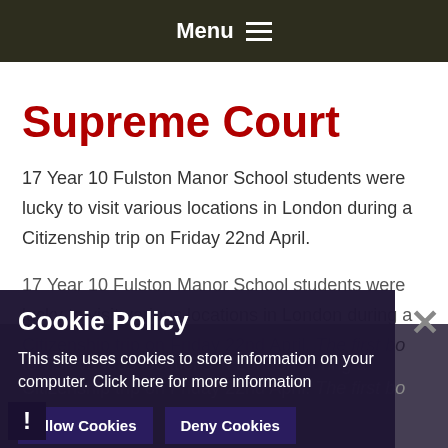Menu
Supreme Court
17 Year 10 Fulston Manor School students were lucky to visit various locations in London during a Citizenship trip on Friday 22nd April.
17 Year 10 Fulston Manor School students were lucky to visit various locations in London during a Citizenship trip on Friday 22nd April. The first bo... (partially obscured)
Cookie Policy
This site uses cookies to store information on your computer. Click here for more information
Allow Cookies  Deny Cookies